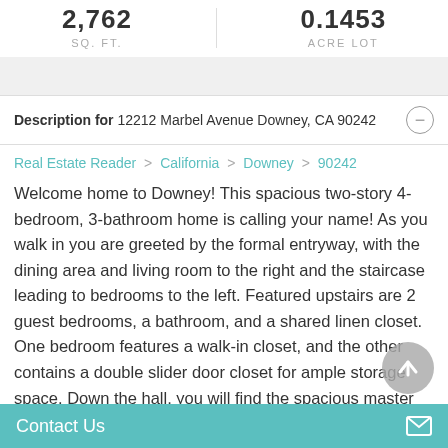2,762 SQ. FT.
0.1453 ACRE LOT
Description for 12212 Marbel Avenue Downey, CA 90242
Real Estate Reader > California > Downey > 90242
Welcome home to Downey! This spacious two-story 4-bedroom, 3-bathroom home is calling your name! As you walk in you are greeted by the formal entryway, with the dining area and living room to the right and the staircase leading to bedrooms to the left. Featured upstairs are 2 guest bedrooms, a bathroom, and a shared linen closet. One bedroom features a walk-in closet, and the other contains a double slider door closet for ample storage space. Down the hall, you will find the spacious master bedroom containing a double-door mirrored closet and
Contact Us